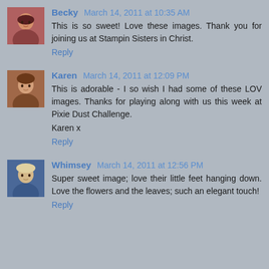Becky March 14, 2011 at 10:35 AM
This is so sweet! Love these images. Thank you for joining us at Stampin Sisters in Christ.
Reply
Karen March 14, 2011 at 12:09 PM
This is adorable - I so wish I had some of these LOV images. Thanks for playing along with us this week at Pixie Dust Challenge.
Karen x
Reply
Whimsey March 14, 2011 at 12:56 PM
Super sweet image; love their little feet hanging down. Love the flowers and the leaves; such an elegant touch!
Reply